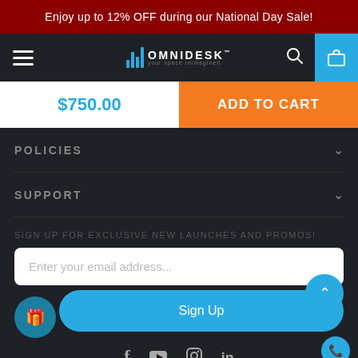Enjoy up to 12% OFF during our National Day Sale!
[Figure (logo): Omnidesk logo with blue bar chart icon and tagline 'your space reimagined']
$750.00
ADD TO CART
POLICIES
SUPPORT
SIGN UP FOR EXCLUSIVE NEW LAUNCHES AND PROMOS!
Enter your email address...
Sign Up